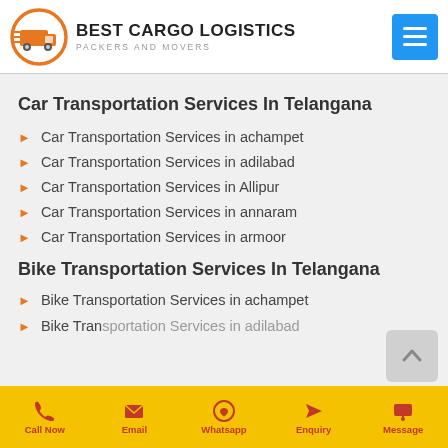BEST CARGO LOGISTICS PACKERS AND MOVERS
Car Transportation Services In Telangana
Car Transportation Services in achampet
Car Transportation Services in adilabad
Car Transportation Services in Allipur
Car Transportation Services in annaram
Car Transportation Services in armoor
Bike Transportation Services In Telangana
Bike Transportation Services in achampet
Bike Transportation Services in adilabad
Call Now | Email | Whatsapp | Enquiry | Message